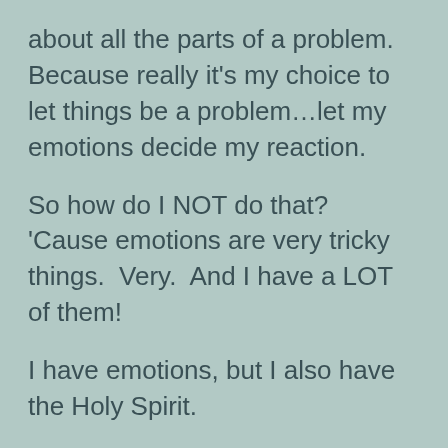about all the parts of a problem.  Because really it's my choice to let things be a problem…let my emotions decide my reaction.
So how do I NOT do that?  'Cause emotions are very tricky things.  Very.  And I have a LOT of them!
I have emotions, but I also have the Holy Spirit.
I know the Holy Spirit is stronger than all those emotions I feel.  God has called me to love others…even the difficult ones…therefore I know I'm equipped and I suspect that the fruit